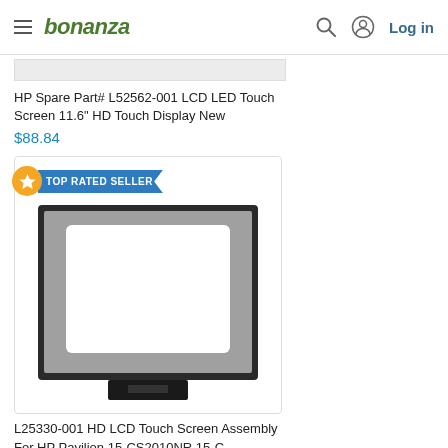bonanza — Log in
[Figure (photo): Partial view of first product listing image (HP LCD Touch Screen)]
HP Spare Part# L52562-001 LCD LED Touch Screen 11.6" HD Touch Display New
$88.84
[Figure (photo): L25330-001 HD LCD Touch Screen Assembly product image showing laptop screen panel with black frame, TOP RATED SELLER badge]
L25330-001 HD LCD Touch Screen Assembly For HP Pavilion 15-CS2010NR 15-C...
$73.23